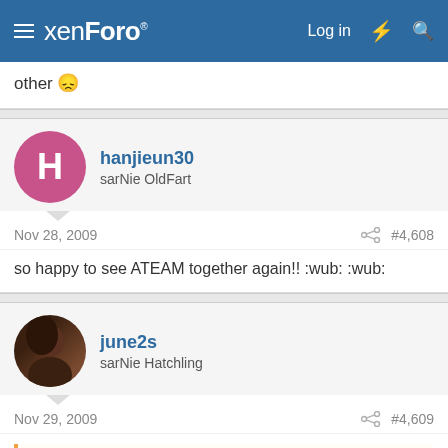xenForo — Log in
other 😕
hanjieun30
sarNie OldFart
Nov 28, 2009  #4,608
so happy to see ATEAM together again!! :wub: :wub:
june2s
sarNie Hatchling
Nov 29, 2009  #4,609
JennieN said:
I'm so happy they are presenter because they finally doing something